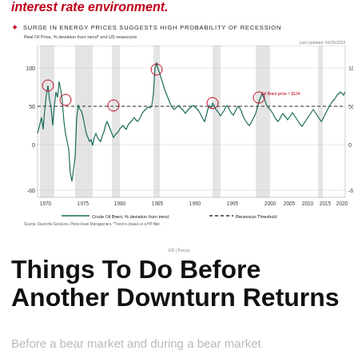interest rate environment.
[Figure (continuous-plot): Line chart showing Real Oil Price % deviation from trend and US recessions from 1970 to 2022. Shows Crude Oil Brent % deviation from trend as a solid line oscillating between about -60 and +120, with a dashed recession threshold line at approximately +50. Gray shaded bands indicate US recession periods. Red circles mark points where oil price crossed the recession threshold before recessions. An annotation notes 'Oil Brent price > $104'. Legend shows Crude Oil Brent % deviation from trend (solid line) and Recession Threshold (dashed line).]
US | Focus
Things To Do Before Another Downturn Returns
Before a bear market and during a bear market